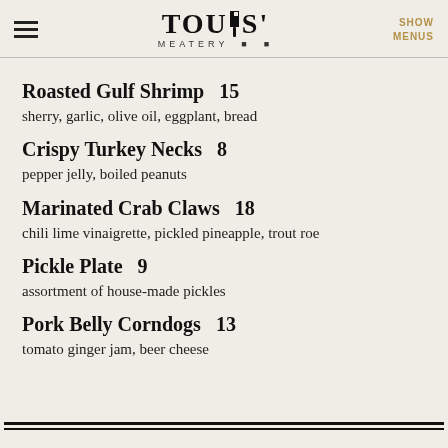TOUPS' MEATERY — SHOW MENUS
Roasted Gulf Shrimp  15
sherry, garlic, olive oil, eggplant, bread
Crispy Turkey Necks  8
pepper jelly, boiled peanuts
Marinated Crab Claws  18
chili lime vinaigrette, pickled pineapple, trout roe
Pickle Plate  9
assortment of house-made pickles
Pork Belly Corndogs  13
tomato ginger jam, beer cheese